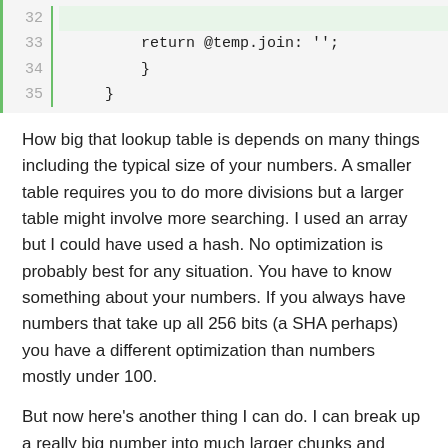[Figure (screenshot): Code snippet lines 32-35 showing Ruby code: line 32 empty highlighted, line 33 'return @temp.join: \'\';', line 34 '}', line 35 '}' with green left border]
How big that lookup table is depends on many things including the typical size of your numbers. A smaller table requires you to do more divisions but a larger table might involve more searching. I used an array but I could have used a hash. No optimization is probably best for any situation. You have to know something about your numbers. If you always have numbers that take up all 256 bits (a SHA perhaps) you have a different optimization than numbers mostly under 100.
But now here's another thing I can do. I can break up a really big number into much larger chunks and provide those smaller numbers as a sequence. I then format those separately (perhaps in parallel) by calling .hyper on that sequence. The .hyper allows parallelism (where